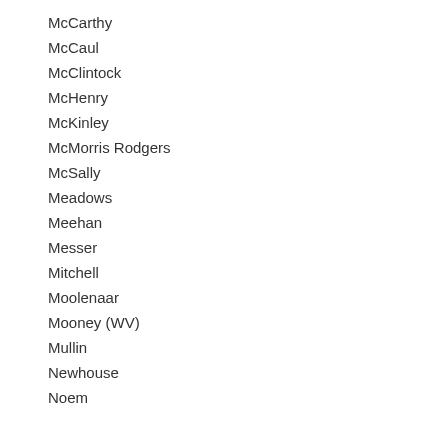McCarthy
McCaul
McClintock
McHenry
McKinley
McMorris Rodgers
McSally
Meadows
Meehan
Messer
Mitchell
Moolenaar
Mooney (WV)
Mullin
Newhouse
Noem